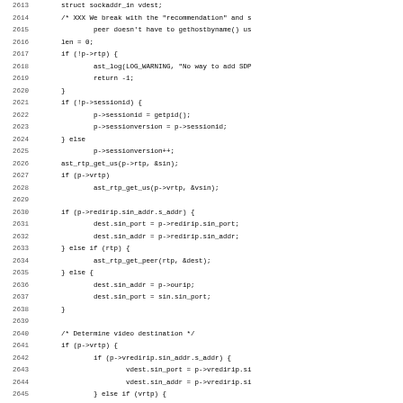[Figure (screenshot): Source code listing showing C code lines 2613-2645, with line numbers on the left and code on the right in monospace font. The code handles SDP session setup, RTP audio/video destination determination.]